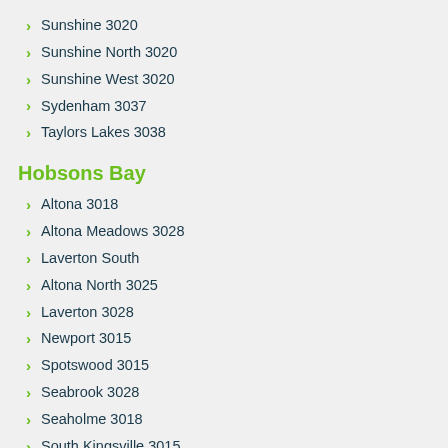Sunshine 3020
Sunshine North 3020
Sunshine West 3020
Sydenham 3037
Taylors Lakes 3038
Hobsons Bay
Altona 3018
Altona Meadows 3028
Laverton South
Altona North 3025
Laverton 3028
Newport 3015
Spotswood 3015
Seabrook 3028
Seaholme 3018
South Kingsville 3015
Williamstown 3016
Williamstown North 3016